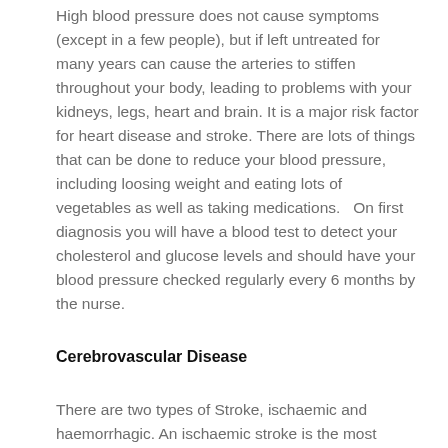High blood pressure does not cause symptoms (except in a few people), but if left untreated for many years can cause the arteries to stiffen throughout your body, leading to problems with your kidneys, legs, heart and brain. It is a major risk factor for heart disease and stroke. There are lots of things that can be done to reduce your blood pressure, including loosing weight and eating lots of vegetables as well as taking medications.   On first diagnosis you will have a blood test to detect your cholesterol and glucose levels and should have your blood pressure checked regularly every 6 months by the nurse.
Cerebrovascular Disease
There are two types of Stroke, ischaemic and haemorrhagic. An ischaemic stroke is the most common type, (accounting for 90% of all strokes), and is caused by a small clot in the arteries in the brain, leading to a small area of the brain dying. Commonly this clot is quickly broken up by the body and the symptoms of the stoke resolve fully - this is called a